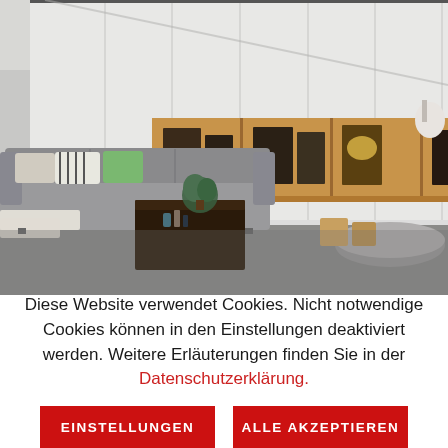[Figure (photo): Interior photo of a modern living room with a large white built-in wardrobe/storage wall featuring wooden open shelving with framed photos, a grey sofa with cushions, dark wood coffee table with a plant, and grey carpet. Natural light comes from a skylight.]
Diese Website verwendet Cookies. Nicht notwendige Cookies können in den Einstellungen deaktiviert werden. Weitere Erläuterungen finden Sie in der Datenschutzerklärung.
EINSTELLUNGEN
ALLE AKZEPTIEREN